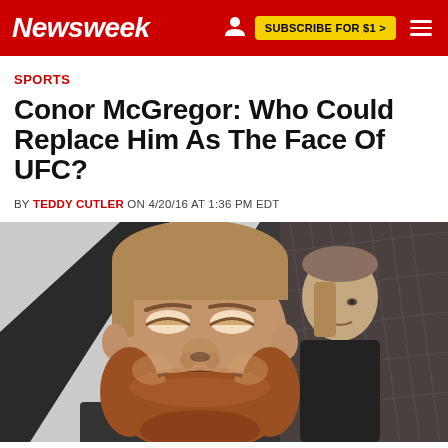Newsweek | SUBSCRIBE FOR $1 >
SPORTS
Conor McGregor: Who Could Replace Him As The Face Of UFC?
BY TEDDY CUTLER ON 4/20/16 AT 1:36 PM EDT
[Figure (photo): Conor McGregor laughing with mouth wide open, beard and short hair, in front of a black and white flag banner with a cage/fence visible in the background, another man visible behind him]